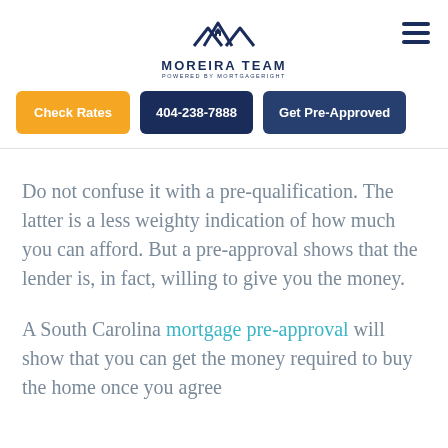[Figure (logo): Moreira Team logo with house/rooftop icon and text 'MOREIRA TEAM POWERED BY MORTGAGERIGHT']
Check Rates  404-238-7888  Get Pre-Approved
Do not confuse it with a pre-qualification. The latter is a less weighty indication of how much you can afford. But a pre-approval shows that the lender is, in fact, willing to give you the money.
A South Carolina mortgage pre-approval will show that you can get the money required to buy the home once you agree